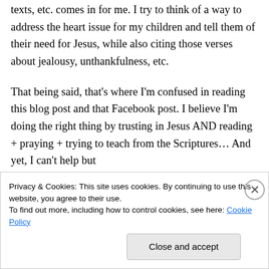texts, etc. comes in for me. I try to think of a way to address the heart issue for my children and tell them of their need for Jesus, while also citing those verses about jealousy, unthankfulness, etc.
That being said, that's where I'm confused in reading this blog post and that Facebook post. I believe I'm doing the right thing by trusting in Jesus AND reading + praying + trying to teach from the Scriptures… And yet, I can't help but
Privacy & Cookies: This site uses cookies. By continuing to use this website, you agree to their use.
To find out more, including how to control cookies, see here: Cookie Policy